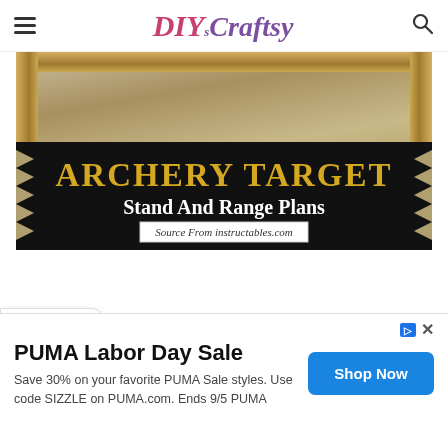DIYs Craftsy
[Figure (photo): Archery Target Stand And Range Plans from instructables.com — wooden frame photo with black ribbon banner overlay showing the title]
ARCHERY TARGET Stand And Range Plans Source From instructables.com
PUMA Labor Day Sale
Save 30% on your favorite PUMA Sale styles. Use code SIZZLE on PUMA.com. Ends 9/5 PUMA
Shop Now